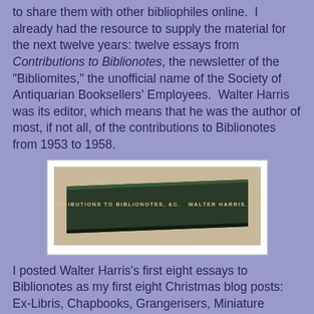to share them with other bibliophiles online.  I already had the resource to supply the material for the next twelve years: twelve essays from Contributions to Biblionotes, the newsletter of the "Bibliomites," the unofficial name of the Society of Antiquarian Booksellers' Employees.  Walter Harris was its editor, which means that he was the author of most, if not all, of the contributions to Biblionotes from 1953 to 1958.
[Figure (photo): Photo of a book spine reading: CONTRIBUTIONS TO BIBLIONOTES, &C.  WALTER HARRIS.  1958]
I posted Walter Harris's first eight essays to Biblionotes as my first eight Christmas blog posts:  Ex-Libris, Chapbooks, Grangerisers, Miniature Books, Peter Motteux, The Bewicks and Their Bookplates,  The Rochester Press, and The Book-Plates of Samuel Pepys.  This year I am posting his essay, "The Boldernio Reprints."